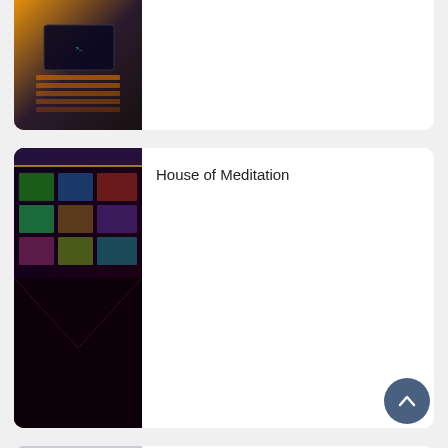[Figure (screenshot): Partially visible card at top showing a VR/game scene with orange and dark cyberpunk aesthetic, keyboard/console visible]
[Figure (screenshot): House of Meditation app thumbnail showing a virtual room with multiple colorful artwork panels/screens on curved walls in dark setting]
House of Meditation
[Figure (screenshot): Cappasity Demo thumbnail showing a bright white gallery/museum room with arched window and a sculpture on a pedestal]
Cappasity Demo
[Figure (screenshot): VR-CPR Personal Edition thumbnail showing blue VR hands/gloves performing CPR on sandy ground]
VR-CPR Personal Edition